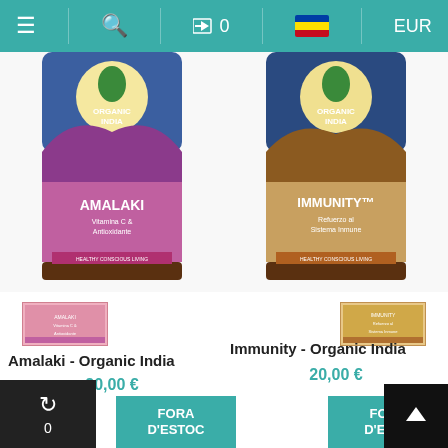Navigation bar with hamburger menu, search, cart (0), flag, EUR
[Figure (photo): Amalaki product jar by Organic India - purple/pink label with Vitamina C & Antioxidantes]
[Figure (photo): Immunity product jar by Organic India - brown/orange label with Refuerzo al Sistema Inmune]
[Figure (photo): Small thumbnail of Amalaki product label]
[Figure (photo): Small thumbnail of Immunity product label]
Amalaki - Organic India
20,00 €
Immunity - Organic India
20,00 €
FORA D'ESTOC
FORA D'ESTO